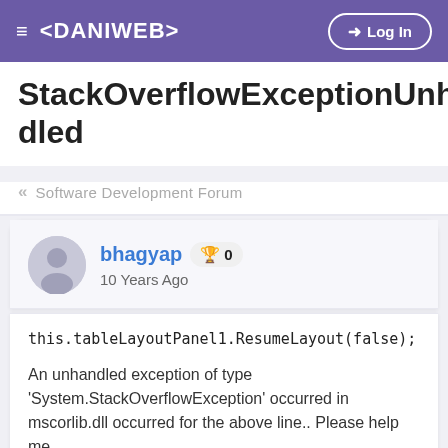< DANIWEB >  Log In
StackOverflowExceptionUnhandled
« Software Development Forum
bhagyap  🏆 0
10 Years Ago
this.tableLayoutPanel1.ResumeLayout(false);

An unhandled exception of type 'System.StackOverflowException' occurred in mscorlib.dll occurred for the above line.. Please help me...
.net-3.5  asp.net  winforms